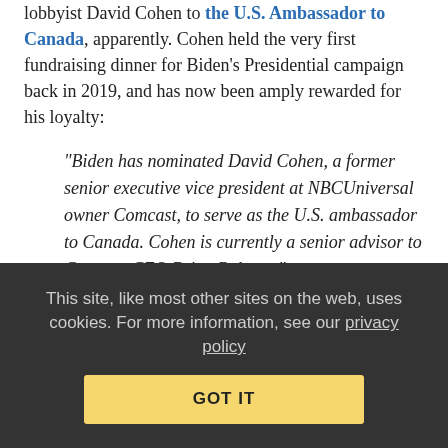lobbyist David Cohen to the U.S. Ambassador to Canada, apparently. Cohen held the very first fundraising dinner for Biden's Presidential campaign back in 2019, and has now been amply rewarded for his loyalty:
“Biden has nominated David Cohen, a former senior executive vice president at NBCUniversal owner Comcast, to serve as the U.S. ambassador to Canada. Cohen is currently a senior advisor to Comcast CEO Brian Roberts.”
Comcast historically gets very angry when you call Cohen a lobbyist, despite the fact he spearheaded the company’s lobbying and policy efforts for the better part of the last decade. After the U.S. updated its feeble lobbying rules in 2007 to require lobbyists to
This site, like most other sites on the web, uses cookies. For more information, see our privacy policy
GOT IT